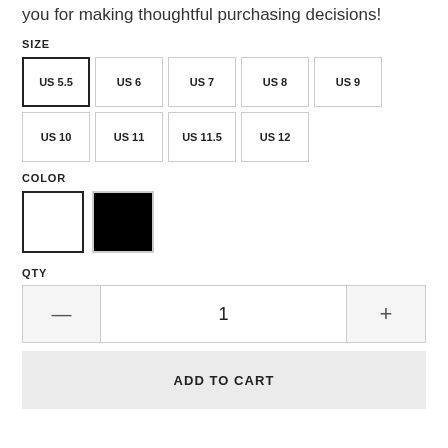you for making thoughtful purchasing decisions!
SIZE
US 5.5 (selected), US 6, US 7, US 8, US 9, US 10, US 11, US 11.5, US 12
COLOR
White (selected), Black
QTY
— 1 +
ADD TO CART